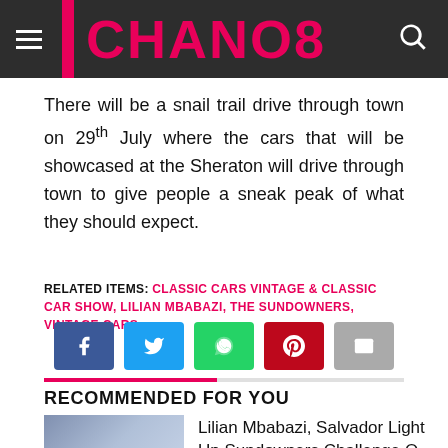CHANO8
There will be a snail trail drive through town on 29th July where the cars that will be showcased at the Sheraton will drive through town to give people a sneak peak of what they should expect.
RELATED ITEMS: CLASSIC CARS VINTAGE & CLASSIC CAR SHOW, LILIAN MBABAZI, THE SUNDOWNERS, VINTAGE CARS
[Figure (other): Social sharing buttons: Facebook, Twitter, WhatsApp, Pinterest, Email]
RECOMMENDED FOR YOU
Lilian Mbabazi, Salvador Light Up Sundowners Challenge O...